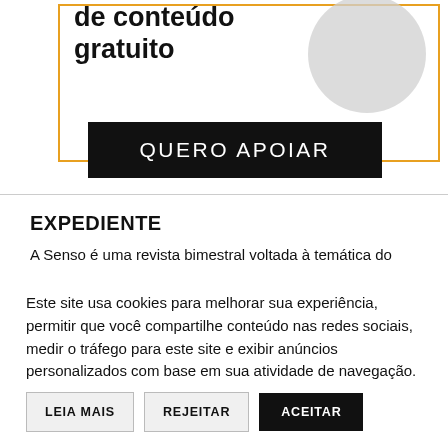[Figure (illustration): Promotional box with orange border, large bold text 'de conteúdo gratuito', a gray circle graphic, and a black button labeled 'QUERO APOIAR']
EXPEDIENTE
A Senso é uma revista bimestral voltada à temática do
Este site usa cookies para melhorar sua experiência, permitir que você compartilhe conteúdo nas redes sociais, medir o tráfego para este site e exibir anúncios personalizados com base em sua atividade de navegação.
LEIA MAIS
REJEITAR
ACEITAR